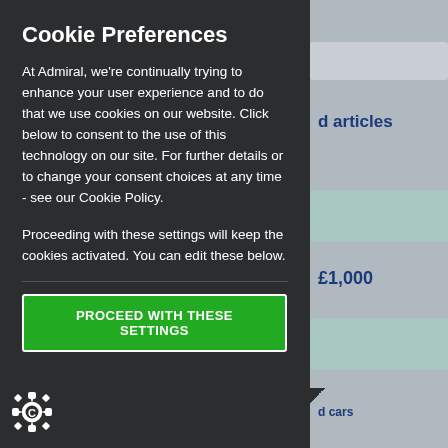Cookie Preferences
At Admiral, we're continually trying to enhance your user experience and to do that we use cookies on our website. Click below to consent to the use of this technology on our site. For further details or to change your consent choices at any time - see our Cookie Policy.
Proceeding with these settings will keep the cookies activated. You can edit these below.
PROCEED WITH THESE SETTINGS
d articles
£1,000
d cars